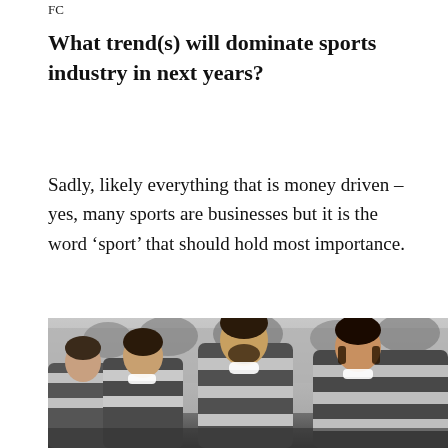FC
What trend(s) will dominate sports industry in next years?
Sadly, likely everything that is money driven – yes, many sports are businesses but it is the word ‘sport’ that should hold most importance.
[Figure (photo): Black and white photograph of rugby players in striped jerseys during a match, with trees in the background.]